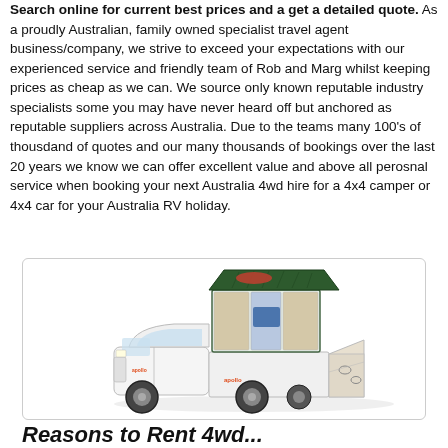Search online for current best prices and a get a detailed quote. As a proudly Australian, family owned specialist travel agent business/company, we strive to exceed your expectations with our experienced service and friendly team of Rob and Marg whilst keeping prices as cheap as we can. We source only known reputable industry specialists some you may have never heard off but anchored as reputable suppliers across Australia. Due to the teams many 100's of thousdand of quotes and our many thousands of bookings over the last 20 years we know we can offer excellent value and above all perosnal service when booking your next Australia 4wd hire for a 4x4 camper or 4x4 car for your Australia RV holiday.
[Figure (photo): Photo of an Apollo campervan/4WD camper with pop-up roof tent, showing the interior setup with the vehicle from a 3/4 angle. The white truck has an Apollo logo on the side and a fold-out kitchen/living area at the back.]
Reasons to Rent 4wd...